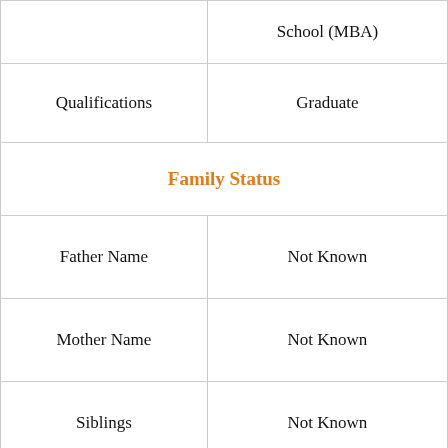|  | School (MBA) |
| Qualifications | Graduate |
| Family Status |  |
| Father Name | Not Known |
| Mother Name | Not Known |
| Siblings | Not Known |
| Children | Not Known |
| Career |  |
| Source Of Income | American Business Executive, billionaire, and Philanthropist |
|  |  |